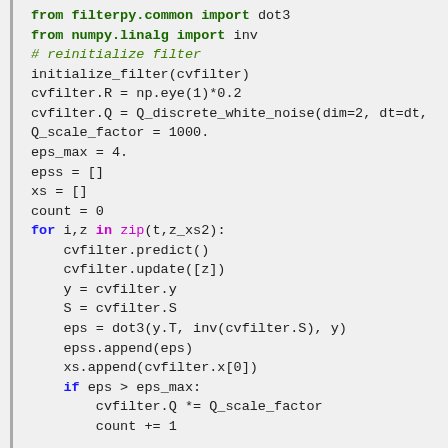from filterpy.common import dot3
from numpy.linalg import inv

# reinitialize filter
initialize_filter(cvfilter)
cvfilter.R = np.eye(1)*0.2

cvfilter.Q = Q_discrete_white_noise(dim=2, dt=dt,

Q_scale_factor = 1000.
eps_max = 4.

epss = []
xs = []
count = 0
for i,z in zip(t,z_xs2):
    cvfilter.predict()
    cvfilter.update([z])
    y = cvfilter.y
    S = cvfilter.S
    eps = dot3(y.T, inv(cvfilter.S), y)
    epss.append(eps)
    xs.append(cvfilter.x[0])

    if eps > eps_max:
        cvfilter.Q *= Q_scale_factor
        count += 1